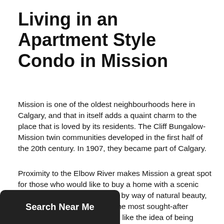Living in an Apartment Style Condo in Mission
Mission is one of the oldest neighbourhoods here in Calgary, and that in itself adds a quaint charm to the place that is loved by its residents. The Cliff Bungalow-Mission twin communities developed in the first half of the 20th century. In 1907, they became part of Calgary.
Proximity to the Elbow River makes Mission a great spot for those who would like to buy a home with a scenic river view. With plenty to offer by way of natural beauty, Mission homes are some of the most sought-after properties for those who like the idea of being surrounded by greenery. The neighbourhood of Mission is encircled by the